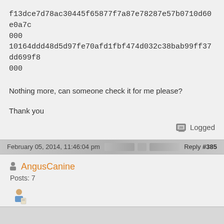f13dce7d78ac30445f65877f7a87e78287e57b0710d60e0a7c
000
10164ddd48d5d97fe70afd1fbf474d032c38bab99ff37dd699f8
000
Nothing more, can someone check it for me please?
Thank you
Logged
February 05, 2014, 11:46:04 pm   Reply #385
AngusCanine
Posts: 7